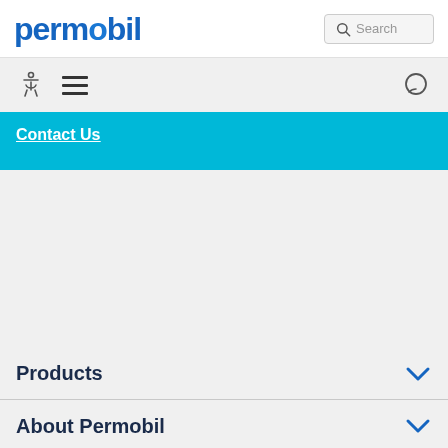permobil
[Figure (screenshot): Navigation toolbar with accessibility icon, hamburger menu, and chat icon on gray background]
Contact Us
Products
About Permobil